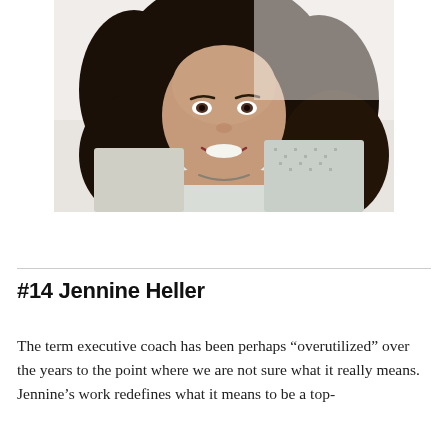[Figure (photo): Headshot of Jennine Heller, a woman with long curly dark hair, smiling, wearing a light patterned top with a necklace, against a white/light background.]
#14 Jennine Heller
The term executive coach has been perhaps “overutilized” over the years to the point where we are not sure what it really means. Jennine’s work redefines what it means to be a top-